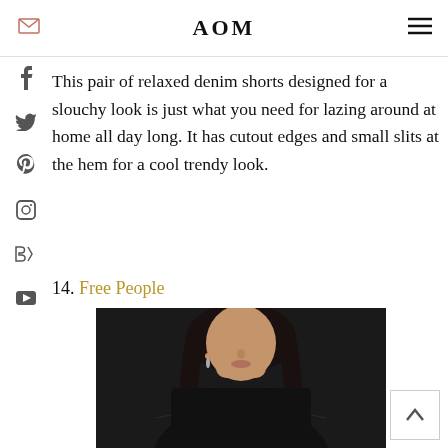AOM
This pair of relaxed denim shorts designed for a slouchy look is just what you need for lazing around at home all day long. It has cutout edges and small slits at the hem for a cool trendy look.
14. Free People
[Figure (photo): A woman wearing a black cowl-neck long-sleeve top, shown from shoulders up, dark hair, product photo on dark background]